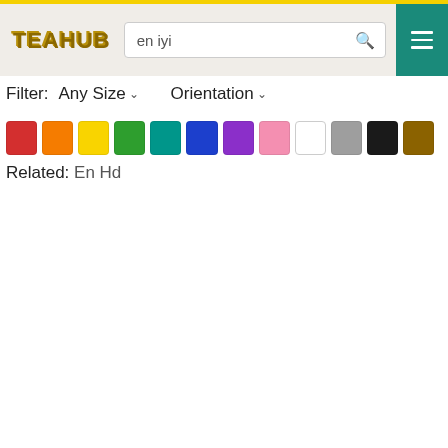[Figure (screenshot): TEAHUB website header with logo, search bar with 'en iyi' query, and teal hamburger menu button]
Filter:  Any Size ∨    Orientation ∨
[Figure (other): Color filter swatches: red, orange, yellow, green, teal, blue, purple, pink, white, gray, black, brown. Clear Filter button.]
Related: En Hd